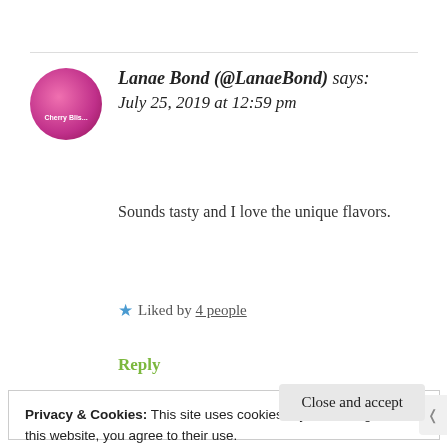[Figure (photo): Round avatar photo of Lanae Bond with pink/magenta tones showing a person]
Lanae Bond (@LanaeBond) says:
July 25, 2019 at 12:59 pm
Sounds tasty and I love the unique flavors.
★ Liked by 4 people
Reply
Privacy & Cookies: This site uses cookies. By continuing to use this website, you agree to their use.
To find out more, including how to control cookies, see here: Cookie Policy
Close and accept